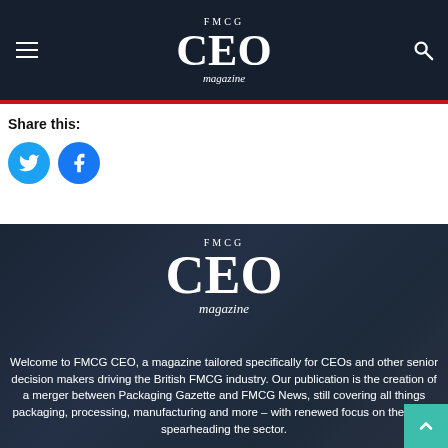FMCG CEO magazine
Share this:
[Figure (logo): FMCG CEO magazine logo on dark background]
Welcome to FMCG CEO, a magazine tailored specifically for CEOs and other senior decision makers driving the British FMCG industry. Our publication is the creation of a merger between Packaging Gazette and FMCG News, still covering all things packaging, processing, manufacturing and more – with renewed focus on the leaders spearheading the sector.